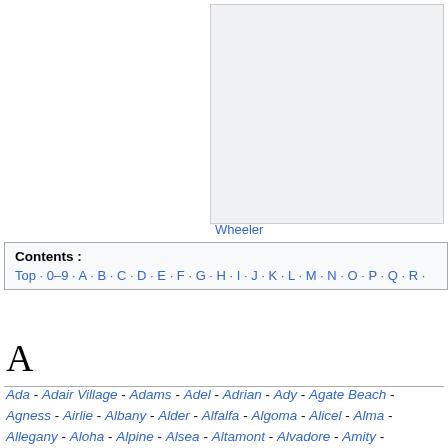[Figure (map): Map placeholder box showing Oregon county map region, labeled Wheeler]
Wheeler
Contents : Top · 0–9 · A · B · C · D · E · F · G · H · I · J · K · L · M · N · O · P · Q · R ·
A
Ada - Adair Village - Adams - Adel - Adrian - Ady - Agate Beach - Agness - Airlie - Albany - Alder - Alfalfa - Algoma - Alicel - Alma - Allegany - Aloha - Alpine - Alsea - Altamont - Alvadore - Amity - Andrews - Anlauf - Antelope - Antone - Apiary - Applegate - Arago - Arch Cape - Arlington - Arocks - Ash - Ashland - Ashwood - Astoria -